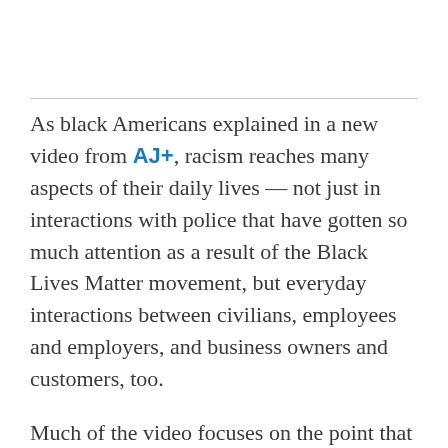As black Americans explained in a new video from AJ+, racism reaches many aspects of their daily lives — not just in interactions with police that have gotten so much attention as a result of the Black Lives Matter movement, but everyday interactions between civilians, employees and employers, and business owners and customers, too.
Much of the video focuses on the point that racism isn't gone from US society — but rather becoming more subtle. "I don't think that it's gotten better," Danielle said. "I think that it's gotten more PC, because people don't want to be perceived as racist."